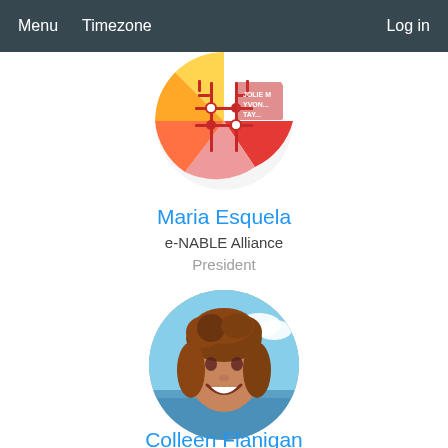Menu   Timezone   Log in
[Figure (photo): Circular avatar image showing e-NABLE Alliance logo — colorful circular badge with red circuit-board design]
Maria Esquela
e-NABLE Alliance
President
[Figure (photo): Circular profile photo of Colleen Flanigan — woman with curly auburn hair smiling, outdoor beach/sky background]
Colleen Flanigan